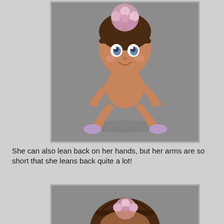[Figure (photo): A small baby doll with brown hair and a pink flower headband sits on a gray background. The doll has large blue eyes, a smile, and wears purple shoes. It is sitting with legs spread out and arms behind.]
She can also lean back on her hands, but her arms are so short that she leans back quite a lot!
[Figure (photo): Partial view of the same doll leaning back, showing the top of the head with pink flower headband and brown hair from a rear angle.]